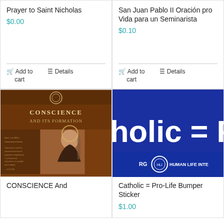Prayer to Saint Nicholas
$0.00
Add to cart
Details
San Juan Pablo II Oración pro Vida para un Seminarista
$0.10
Add to cart
Details
[Figure (illustration): Book cover for 'Conscience and Its Formation' showing a religious painting of a saint with a halo, cathedral in background, on a brown/dark background with text overlay]
CONSCIENCE And
[Figure (illustration): Blue bumper sticker reading 'holic = Pro' with Human Life International logo and text 'RG HUMAN LIFE INTE']
Catholic = Pro-Life Bumper Sticker
$1.00